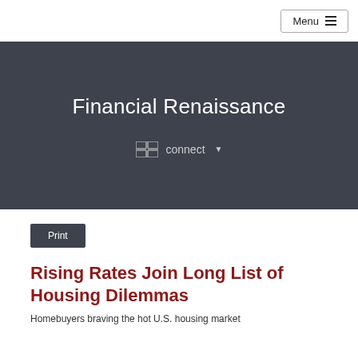Menu
Financial Renaissance
connect
Print
Rising Rates Join Long List of Housing Dilemmas
Homebuyers braving the hot U.S. housing market